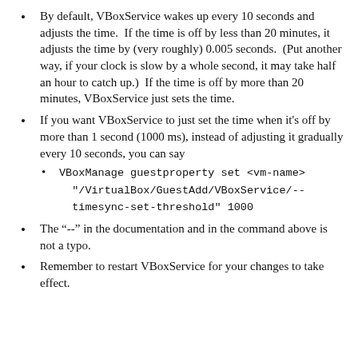By default, VBoxService wakes up every 10 seconds and adjusts the time. If the time is off by less than 20 minutes, it adjusts the time by (very roughly) 0.005 seconds. (Put another way, if your clock is slow by a whole second, it may take half an hour to catch up.) If the time is off by more than 20 minutes, VBoxService just sets the time.
If you want VBoxService to just set the time when it’s off by more than 1 second (1000 ms), instead of adjusting it gradually every 10 seconds, you can say
VBoxManage guestproperty set <vm-name> "/VirtualBox/GuestAdd/VBoxService/--timesync-set-threshold" 1000
The “--” in the documentation and in the command above is not a typo.
Remember to restart VBoxService for your changes to take effect.